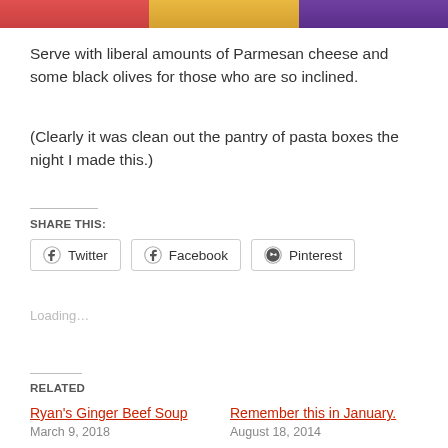[Figure (photo): Three food images at top: red pasta dish, yellow/orange pasta dish, dark purple/brown pasta dish]
Serve with liberal amounts of Parmesan cheese and some black olives for those who are so inclined.
(Clearly it was clean out the pantry of pasta boxes the night I made this.)
SHARE THIS:
Twitter Facebook Pinterest
Loading...
RELATED
Ryan's Ginger Beef Soup
March 9, 2018
Remember this in January.
August 18, 2014